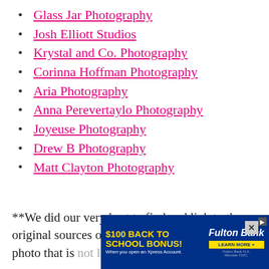Glass Jar Photography
Josh Elliott Studios
Krystal and Co. Photography
Corinna Hoffman Photography
Aria Photography
Anna Perevertaylo Photography
Joyeuse Photography
Drew B Photography
Matt Clayton Photography
**We did our very best to find and link to the original sources of each photo, but if you see a photo that is not link... can fix it. We d... dit is
[Figure (other): Advertisement banner for Fulton Bank $100 Back to School Bonus with an X close button overlay]